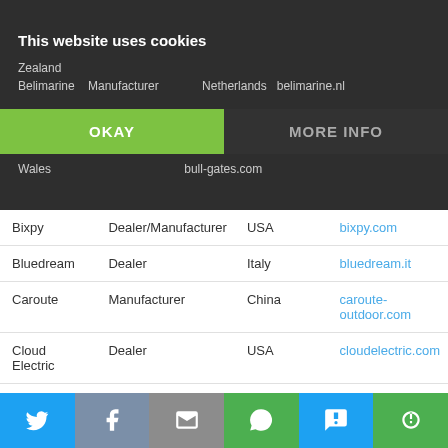This website uses cookies
Zealand
Belimarine   Manufacturer   Netherlands   belimarine.nl
Wales   bull-gates.com
| Name | Type | Country | Website |
| --- | --- | --- | --- |
| Bixpy | Dealer/Manufacturer | USA | bixpy.com |
| Bluedream | Dealer | Italy | bluedream.it |
| Caroute | Manufacturer | China | caroute-outdoor.com |
| Cloud Electric | Dealer | USA | cloudelectric.com |
| Clouds International | Dealer | Netherlands | clouds.nl |
| Combi Outboards | Manufacturer | Netherlands | combi-outboards.com |
| de stille boot | Dealer | Netherlands | destilleboot.nl |
| e-Marine | Dealer | USA | emarineinc.com |